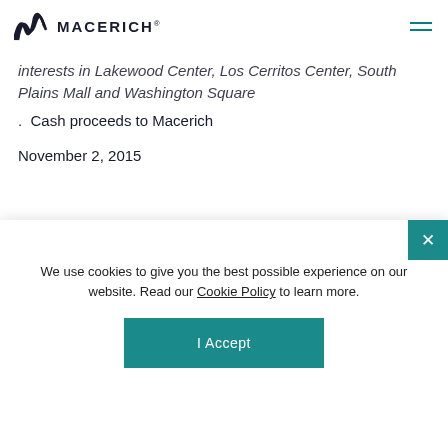MACERICH®
interests in Lakewood Center, Los Cerritos Center, South Plains Mall and Washington Square
. Cash proceeds to Macerich
November 2, 2015
We use cookies to give you the best possible experience on our website. Read our Cookie Policy to learn more.